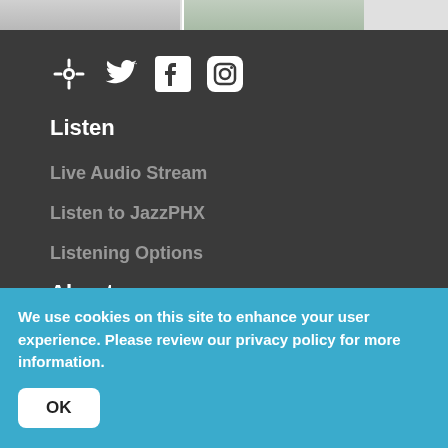[Figure (photo): Top image strip showing partial photos of people]
[Figure (illustration): Social media icons: podcast/tune-in, Twitter, Facebook, Instagram]
Listen
Live Audio Stream
Listen to JazzPHX
Listening Options
About
Contact
Jobs
We use cookies on this site to enhance your user experience. Please review our privacy policy for more information.
OK